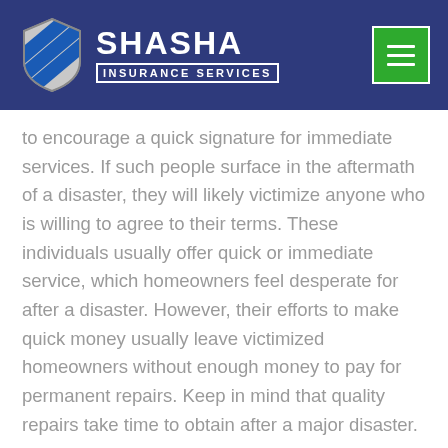[Figure (logo): Shasha Insurance Services logo with shield icon on dark blue header background, and green hamburger menu button in top right]
to encourage a quick signature for immediate services. If such people surface in the aftermath of a disaster, they will likely victimize anyone who is willing to agree to their terms. These individuals usually offer quick or immediate service, which homeowners feel desperate for after a disaster. However, their efforts to make quick money usually leave victimized homeowners without enough money to pay for permanent repairs. Keep in mind that quality repairs take time to obtain after a major disaster.
Another thing to remember is that it's best to settle a claim directly with the insurance company before considering using the services of a public adjuster or attorney. Insurance companies provide their adjuster's